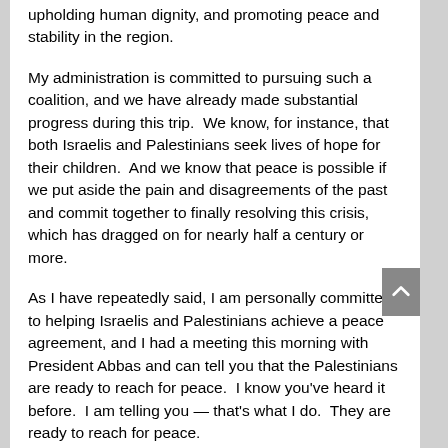upholding human dignity, and promoting peace and stability in the region.
My administration is committed to pursuing such a coalition, and we have already made substantial progress during this trip.  We know, for instance, that both Israelis and Palestinians seek lives of hope for their children.  And we know that peace is possible if we put aside the pain and disagreements of the past and commit together to finally resolving this crisis, which has dragged on for nearly half a century or more.
As I have repeatedly said, I am personally committed to helping Israelis and Palestinians achieve a peace agreement, and I had a meeting this morning with President Abbas and can tell you that the Palestinians are ready to reach for peace.  I know you've heard it before.  I am telling you — that's what I do.  They are ready to reach for peace.